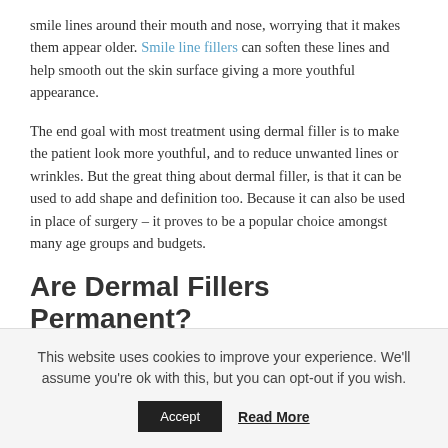smile lines around their mouth and nose, worrying that it makes them appear older. Smile line fillers can soften these lines and help smooth out the skin surface giving a more youthful appearance.
The end goal with most treatment using dermal filler is to make the patient look more youthful, and to reduce unwanted lines or wrinkles. But the great thing about dermal filler, is that it can be used to add shape and definition too. Because it can also be used in place of surgery – it proves to be a popular choice amongst many age groups and budgets.
Are Dermal Fillers Permanent?
This website uses cookies to improve your experience. We'll assume you're ok with this, but you can opt-out if you wish.
Accept | Read More